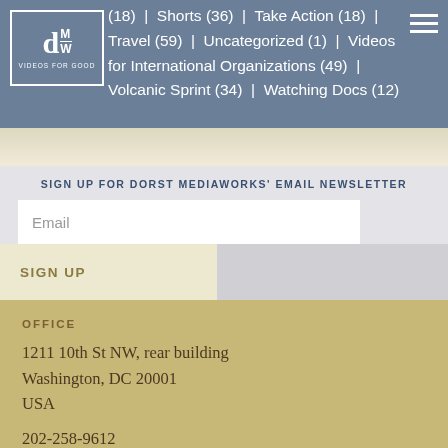(18) | Shorts (36) | Take Action (18) | Travel (59) | Uncategorized (1) | Videos for International Organizations (49) | Volcanic Sprint (34) | Watching Docs (12)
[Figure (logo): DMW Videos for Good logo - square box with letter d, MW stacked, and tagline VIDEOS FOR GOOD]
SIGN UP FOR DORST MEDIAWORKS' EMAIL NEWSLETTER
Email
SIGN UP
OFFICE
1211 10th St NW, rear building
Washington, DC 20001
USA
202-258-9612